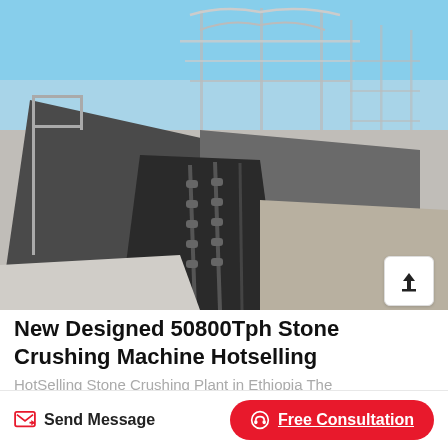[Figure (photo): Industrial stone crushing plant machinery with steel framework structure and conveyor/hopper equipment, photo taken outdoors with blue sky background. Ethiopian quarry/mining site.]
New Designed 50800Tph Stone Crushing Machine Hotselling
HotSelling Stone Crushing Plant in Ethiopia The
Send Message
Free Consultation